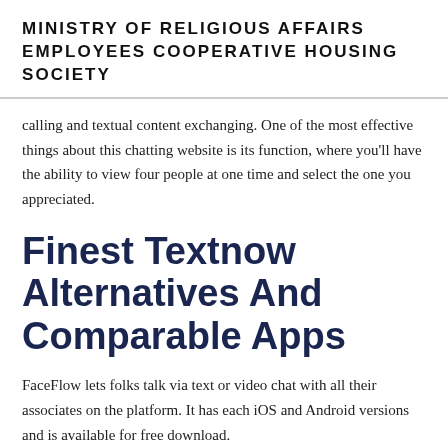MINISTRY OF RELIGIOUS AFFAIRS EMPLOYEES COOPERATIVE HOUSING SOCIETY
calling and textual content exchanging. One of the most effective things about this chatting website is its function, where you'll have the ability to view four people at one time and select the one you appreciated.
Finest Textnow Alternatives And Comparable Apps
FaceFlow lets folks talk via text or video chat with all their associates on the platform. It has each iOS and Android versions and is available for free download.